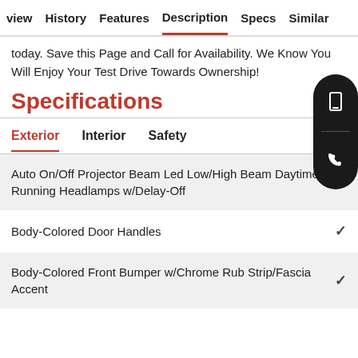view  History  Features  Description  Specs  Similar
today. Save this Page and Call for Availability. We Know You Will Enjoy Your Test Drive Towards Ownership!
Specifications
Exterior  Interior  Safety
Auto On/Off Projector Beam Led Low/High Beam Daytime Running Headlamps w/Delay-Off
Body-Colored Door Handles
Body-Colored Front Bumper w/Chrome Rub Strip/Fascia Accent